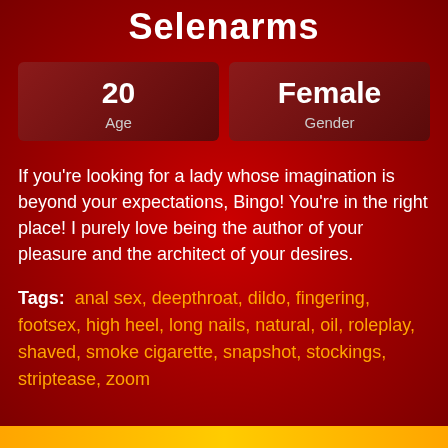Selenarms
| Age | Gender |
| --- | --- |
| 20 | Female |
If you're looking for a lady whose imagination is beyond your expectations, Bingo! You're in the right place! I purely love being the author of your pleasure and the architect of your desires.
Tags:  anal sex, deepthroat, dildo, fingering, footsex, high heel, long nails, natural, oil, roleplay, shaved, smoke cigarette, snapshot, stockings, striptease, zoom